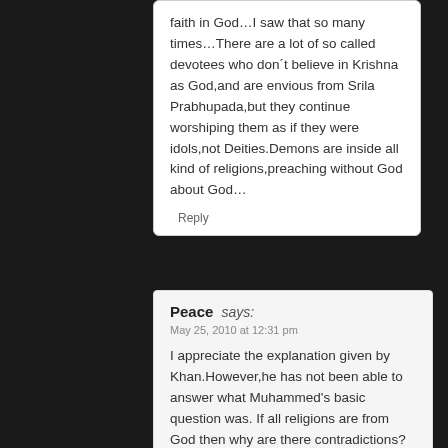faith in God…I saw that so many times…There are a lot of so called devotees who don´t believe in Krishna as God,and are envious from Srila Prabhupada,but they continue worshiping them as if they were idols,not Deities.Demons are inside all kind of religions,preaching without God about God…
Reply
Peace says:
May 25, 2010 at 12:31 pm
I appreciate the explanation given by Khan.However,he has not been able to answer what Muhammed's basic question was. If all religions are from God then why are there contradictions?